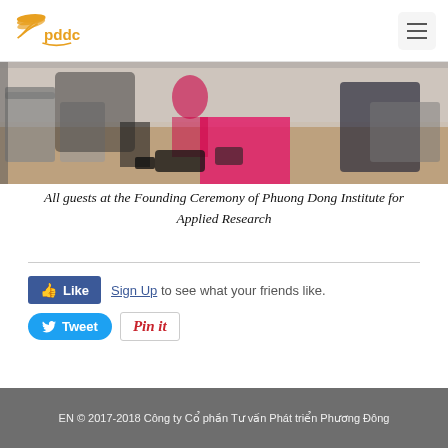pddc [logo] [hamburger menu]
[Figure (photo): Group photo of guests seated at the Founding Ceremony of Phuong Dong Institute for Applied Research, showing people in formal attire in an indoor setting with wooden flooring and a pink carpet.]
All guests at the Founding Ceremony of Phuong Dong Institute for Applied Research
Like Sign Up to see what your friends like. Tweet Pin it
EN © 2017-2018 Công ty Cổ phần Tư vấn Phát triển Phương Đông